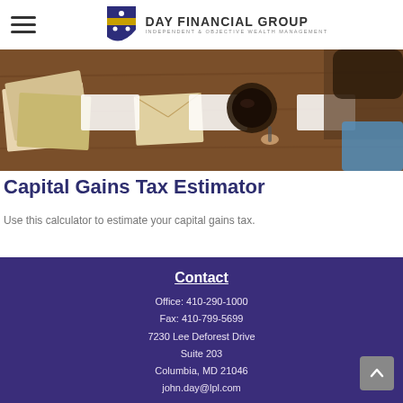Day Financial Group — Independent & Objective Wealth Management
[Figure (photo): Hero banner showing a person working at a wooden desk with papers, envelopes, and a coffee cup, viewed from above]
Capital Gains Tax Estimator
Use this calculator to estimate your capital gains tax.
Contact
Office: 410-290-1000
Fax: 410-799-5699
7230 Lee Deforest Drive
Suite 203
Columbia, MD 21046
john.day@lpl.com